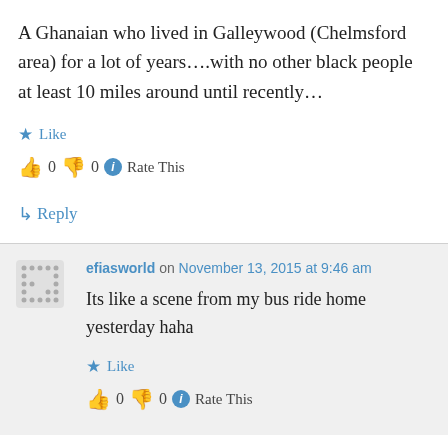A Ghanaian who lived in Galleywood (Chelmsford area) for a lot of years….with no other black people at least 10 miles around until recently…
★ Like
👍 0 👎 0 ℹ Rate This
↳ Reply
efiasworld on November 13, 2015 at 9:46 am
Its like a scene from my bus ride home yesterday haha
★ Like
👍 0 👎 0 ℹ Rate This